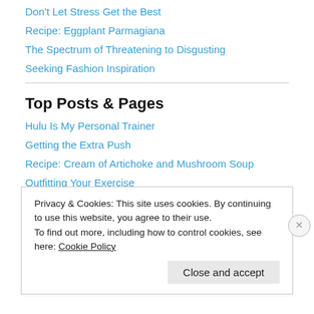Don't Let Stress Get the Best
Recipe: Eggplant Parmagiana
The Spectrum of Threatening to Disgusting
Seeking Fashion Inspiration
Top Posts & Pages
Hulu Is My Personal Trainer
Getting the Extra Push
Recipe: Cream of Artichoke and Mushroom Soup
Outfitting Your Exercise
The High Price of Low Weight
Privacy & Cookies: This site uses cookies. By continuing to use this website, you agree to their use.
To find out more, including how to control cookies, see here: Cookie Policy